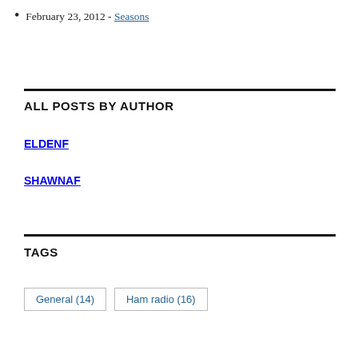February 23, 2012 - Seasons
ALL POSTS BY AUTHOR
ELDENF
SHAWNAF
TAGS
General (14)
Ham radio (16)